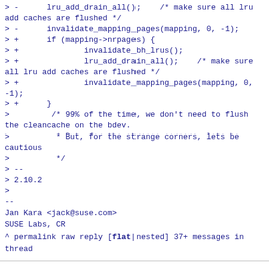> -      lru_add_drain_all();    /* make sure all lru add caches are flushed */
> -      invalidate_mapping_pages(mapping, 0, -1);
> +      if (mapping->nrpages) {
> +              invalidate_bh_lrus();
> +              lru_add_drain_all();    /* make sure all lru add caches are flushed */
> +              invalidate_mapping_pages(mapping, 0,
-1);
> +      }
>         /* 99% of the time, we don't need to flush the cleancache on the bdev.
>          * But, for the strange corners, lets be cautious
>          */
> --
> 2.10.2
>
--
Jan Kara <jack@suse.com>
SUSE Labs, CR
^ permalink raw reply   [flat|nested] 37+ messages in thread
* Re: [PATCH v2 3/4] mm/truncate: bail out early from invalidate_inode_pages2_range() if mapping is empty
  2017-04-24 16:41   ` [PATCH v2 3/4] mm/truncate: bail out early from invalidate_inode_pages2_range() if